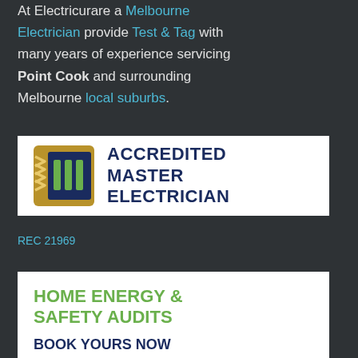At Electricurare a Melbourne Electrician provide Test & Tag with many years of experience servicing Point Cook and surrounding Melbourne local suburbs.
[Figure (logo): Accredited Master Electrician logo: gold/brown square with blue square inside containing three green vertical bars, next to bold dark blue text reading ACCREDITED MASTER ELECTRICIAN]
REC 21969
[Figure (infographic): Home Energy & Safety Audits advertisement with green bold text heading and navy BOOK YOURS NOW text, partially visible tablet graphic at bottom]